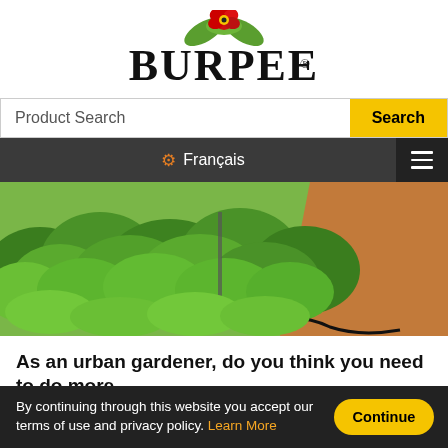[Figure (logo): Burpee logo with red flower and green leaves above stylized text BURPEE with registered trademark symbol]
[Figure (screenshot): Search bar with 'Product Search' placeholder text and yellow 'Search' button]
⚙ Français  ☰
[Figure (photo): Aerial/ground-level photo of lush green leafy crops growing in rows in a field with red/brown soil visible on the right side and a dark irrigation hose]
As an urban gardener, do you think you need to do more
By continuing through this website you accept our terms of use and privacy policy. Learn More
Continue